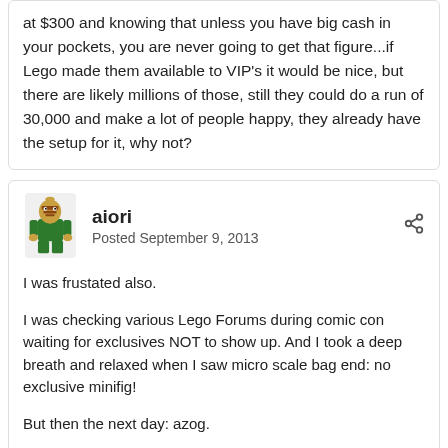at $300 and knowing that unless you have big cash in your pockets, you are never going to get that figure...if Lego made them available to VIP's it would be nice, but there are likely millions of those, still they could do a run of 30,000 and make a lot of people happy, they already have the setup for it, why not?
aiori
Posted September 9, 2013
I was frustated also.

I was checking various Lego Forums during comic con waiting for exclusives NOT to show up. And I took a deep breath and relaxed when I saw micro scale bag end: no exclusive minifig!

But then the next day: azog.

I wrote to TLG telling about my disappoinment and probably cancelling collecting LOTR sets furthermore, since theres no chance to complete.

But I also made a suggestion and I'd like to know, what you think about it: